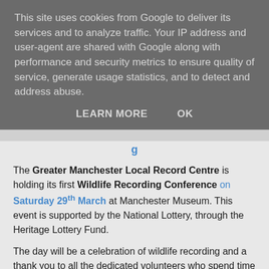This site uses cookies from Google to deliver its services and to analyze traffic. Your IP address and user-agent are shared with Google along with performance and security metrics to ensure quality of service, generate usage statistics, and to detect and address abuse.
LEARN MORE   OK
The Greater Manchester Local Record Centre is holding its first Wildlife Recording Conference on Saturday 29th March at Manchester Museum. This event is supported by the National Lottery, through the Heritage Lottery Fund.
The day will be a celebration of wildlife recording and a thank you to all the dedicated volunteers who spend time recording and submitting records. The day will be a chance to discover new opportunities for recording, meet like-minded recorders and find out what happens to data once it has been submitted.
If you would like to come along to this free event, please fill in